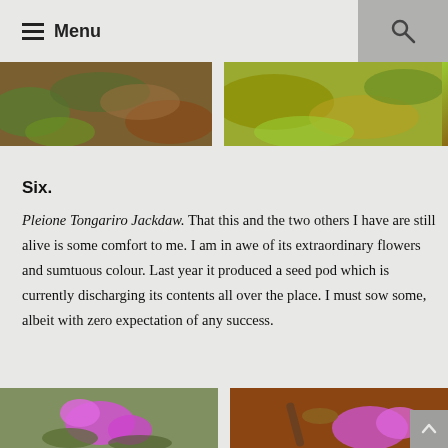Menu
[Figure (photo): Two side-by-side photos of moss or plant growth on soil — left shows reddish-brown and green moss, right shows yellowish-green moss]
Six.
Pleione Tongariro Jackdaw. That this and the two others I have are still alive is some comfort to me. I am in awe of its extraordinary flowers and sumtuous colour. Last year it produced a seed pod which is currently discharging its contents all over the place. I must sow some, albeit with zero expectation of any success.
[Figure (photo): Two side-by-side photos — left shows a bright pink Pleione orchid in a pot, right shows a seed pod with pink orchid flowers in background]